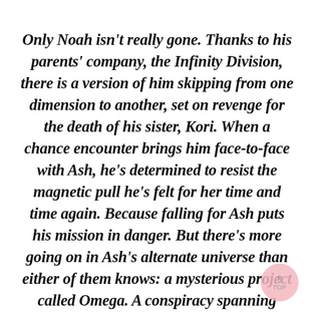Only Noah isn't really gone. Thanks to his parents' company, the Infinity Division, there is a version of him skipping from one dimension to another, set on revenge for the death of his sister, Kori. When a chance encounter brings him face-to-face with Ash, he's determined to resist the magnetic pull he's felt for her time and time again. Because falling for Ash puts his mission in danger. But there's more going on in Ash's alternate universe than either of them knows: a mysterious project called Omega. A conspiracy spanning multiple Earths and revolving around none other than Ash. Its creators